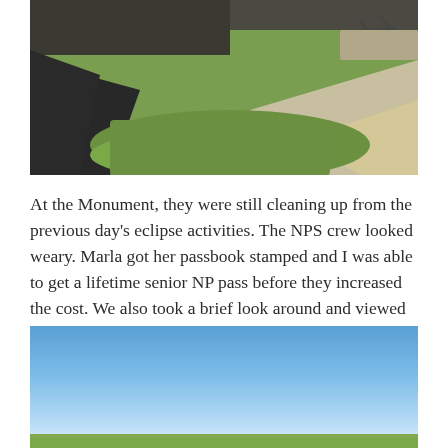[Figure (photo): Outdoor photo of a grassy lawn area with a dark paved path or driveway on the left, a light concrete or stone pathway on the right, and green grass in the middle. Upper portion shows the base of a building and some landscaping features.]
At the Monument, they were still cleaning up from the previous day's eclipse activities. The NPS crew looked weary. Marla got her passbook stamped and I was able to get a lifetime senior NP pass before they increased the cost. We also took a brief look around and viewed one of the largest tracts (100 acres) of restored tall grass prairie in The United States.
[Figure (photo): Outdoor photo showing a blue sky with a gradient from deeper blue at the top to lighter blue and white near the horizon, with a thin strip of green grass at the very bottom.]